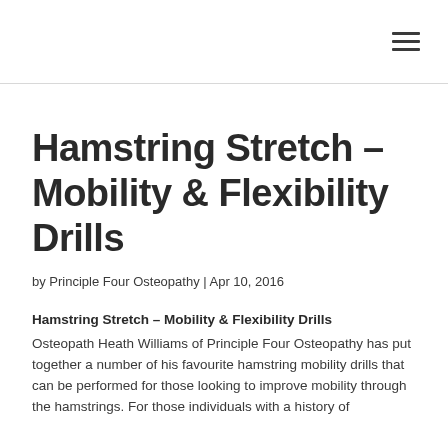☰
Hamstring Stretch – Mobility & Flexibility Drills
by Principle Four Osteopathy | Apr 10, 2016
Hamstring Stretch – Mobility & Flexibility Drills
Osteopath Heath Williams of Principle Four Osteopathy has put together a number of his favourite hamstring mobility drills that can be performed for those looking to improve mobility through the hamstrings. For those individuals with a history of